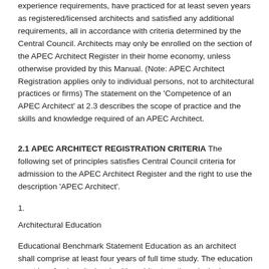experience requirements, have practiced for at least seven years as registered/licensed architects and satisfied any additional requirements, all in accordance with criteria determined by the Central Council. Architects may only be enrolled on the section of the APEC Architect Register in their home economy, unless otherwise provided by this Manual. (Note: APEC Architect Registration applies only to individual persons, not to architectural practices or firms) The statement on the 'Competence of an APEC Architect' at 2.3 describes the scope of practice and the skills and knowledge required of an APEC Architect.
2.1 APEC ARCHITECT REGISTRATION CRITERIA The following set of principles satisfies Central Council criteria for admission to the APEC Architect Register and the right to use the description 'APEC Architect'.
1.
Architectural Education
Educational Benchmark Statement Education as an architect shall comprise at least four years of full time study. The education must be of university level, with architecture the principal component. It must maintain a balance